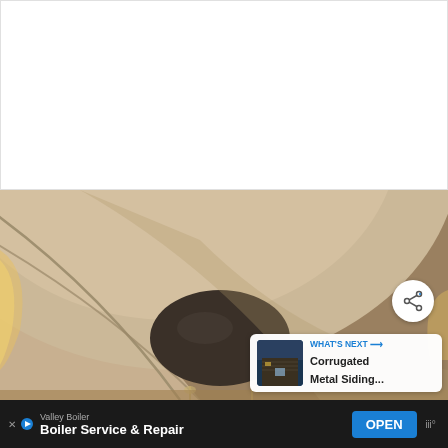[Figure (photo): White blank area at top of page, likely a web article content area]
[Figure (photo): Interior architectural photograph of a modern ceiling with curved plaster coffers, warm LED strip lighting along the curved edges, and a large dark oval pendant light fixture hanging from the center. The ceiling features sweeping concentric curves creating a layered tray ceiling effect with indirect golden lighting.]
[Figure (other): Share button overlay — white circular button with share icon (three dots connected by lines)]
[Figure (other): What's Next recommendation card showing a small photo of a building with corrugated metal siding, with label 'WHAT'S NEXT →' and title 'Corrugated Metal Siding...']
Valley Boiler
Boiler Service & Repair
OPEN